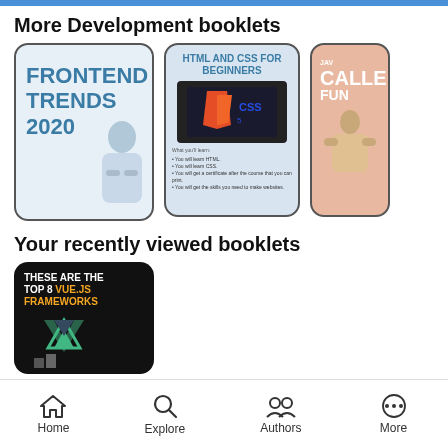More Development booklets
[Figure (illustration): Booklet cover: FRONTEND TRENDS 2020 with person illustration, light blue background]
[Figure (illustration): Booklet cover: HTML AND CSS FOR BEGINNERS with HTML5/CSS3 logo screenshot and bullet points]
[Figure (illustration): Partial booklet cover: JAVA CALLE FUN with seated person illustration, salmon/peach background]
Your recently viewed booklets
[Figure (illustration): Booklet cover: THESE ARE THE TOP 8 VUE.JS FRAMEWORKS with Vue.js logo on dark background]
Home  Explore  Authors  More